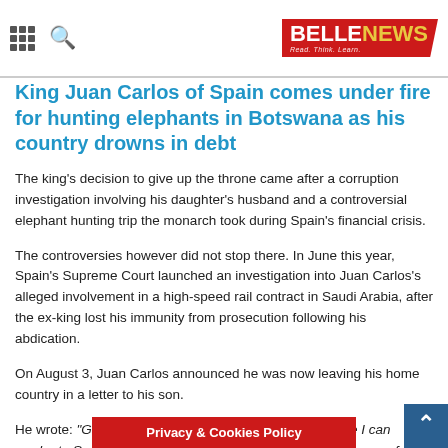BELLENEWS Read. Think. Learn.
King Juan Carlos of Spain comes under fire for hunting elephants in Botswana as his country drowns in debt
The king's decision to give up the throne came after a corruption investigation involving his daughter's husband and a controversial elephant hunting trip the monarch took during Spain's financial crisis.
The controversies however did not stop there. In June this year, Spain's Supreme Court launched an investigation into Juan Carlos's alleged involvement in a high-speed rail contract in Saudi Arabia, after the ex-king lost his immunity from prosecution following his abdication.
On August 3, Juan Carlos announced he was now leaving his home country in a letter to his son.
He wrote: “Guided by the convict[ion that the best service I can render to Spain, its] institutions, and you as king, I in[form you of my decision to leave] this time to
Privacy & Cookies Policy